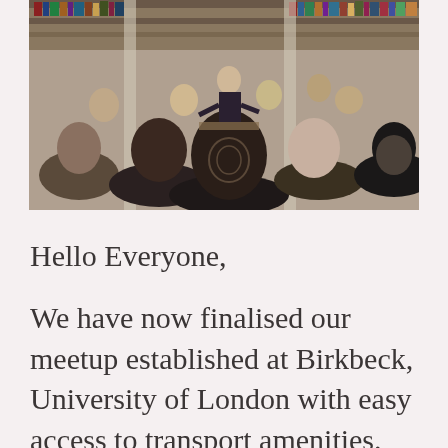[Figure (photo): A group of people seated in a library or bookshop setting, viewed from behind, facing a speaker who is standing and talking. Bookshelves are visible in the background.]
Hello Everyone,
We have now finalised our meetup established at Birkbeck, University of London with easy access to transport amenities.